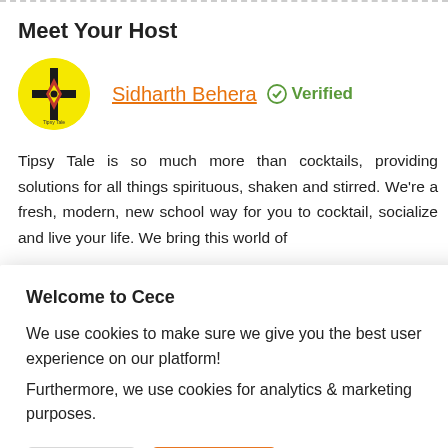Meet Your Host
[Figure (logo): Circular yellow logo with black and red geometric symbol and 'Tipsy Tale' text at bottom]
Sidharth Behera  ✓ Verified
Tipsy Tale is so much more than cocktails, providing solutions for all things spirituous, shaken and stirred. We're a fresh, modern, new school way for you to cocktail, socialize and live your life. We bring this world of
Welcome to Cece
We use cookies to make sure we give you the best user experience on our platform! Furthermore, we use cookies for analytics & marketing purposes.
Reject All   Accept All